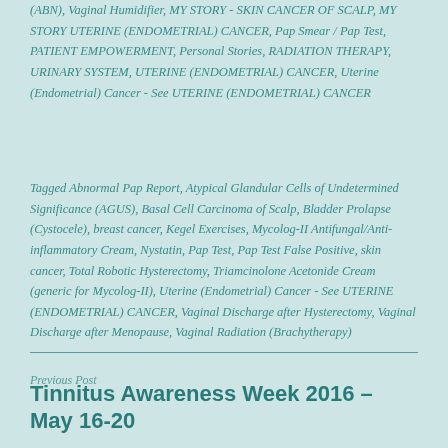(ABN), Vaginal Humidifier, MY STORY - SKIN CANCER OF SCALP, MY STORY UTERINE (ENDOMETRIAL) CANCER, Pap Smear / Pap Test, PATIENT EMPOWERMENT, Personal Stories, RADIATION THERAPY, URINARY SYSTEM, UTERINE (ENDOMETRIAL) CANCER, Uterine (Endometrial) Cancer - See UTERINE (ENDOMETRIAL) CANCER
Tagged Abnormal Pap Report, Atypical Glandular Cells of Undetermined Significance (AGUS), Basal Cell Carcinoma of Scalp, Bladder Prolapse (Cystocele), breast cancer, Kegel Exercises, Mycolog-II Antifungal/Anti-inflammatory Cream, Nystatin, Pap Test, Pap Test False Positive, skin cancer, Total Robotic Hysterectomy, Triamcinolone Acetonide Cream (generic for Mycolog-II), Uterine (Endometrial) Cancer - See UTERINE (ENDOMETRIAL) CANCER, Vaginal Discharge after Hysterectomy, Vaginal Discharge after Menopause, Vaginal Radiation (Brachytherapy)
Previous Post
Tinnitus Awareness Week 2016 – May 16-20